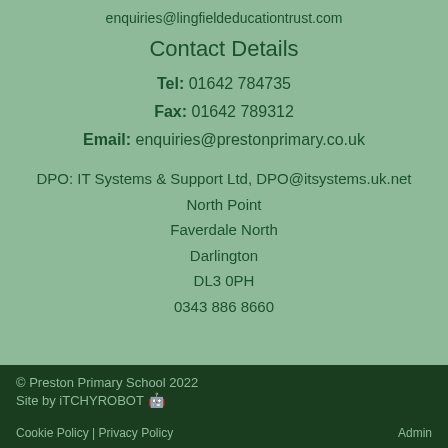enquiries@lingfieldeducationtrust.com
Contact Details
Tel: 01642 784735
Fax: 01642 789312
Email: enquiries@prestonprimary.co.uk
DPO: IT Systems & Support Ltd, DPO@itsystems.uk.net
North Point
Faverdale North
Darlington
DL3 0PH
0343 886 8660
© Preston Primary School 2022
Site by iTCHYROBOT 🤖
Cookie Policy | Privacy Policy
Admin